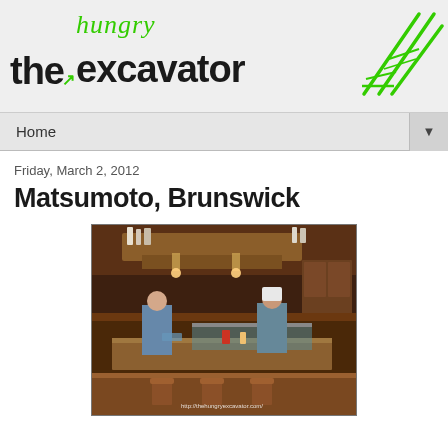the hungry excavator
Home
Friday, March 2, 2012
Matsumoto, Brunswick
[Figure (photo): Interior of Matsumoto restaurant in Brunswick showing an open kitchen counter with chefs, food prep area, wooden bar seating, and overhead storage shelving. Watermark: http://thehungryexcavator.com/]